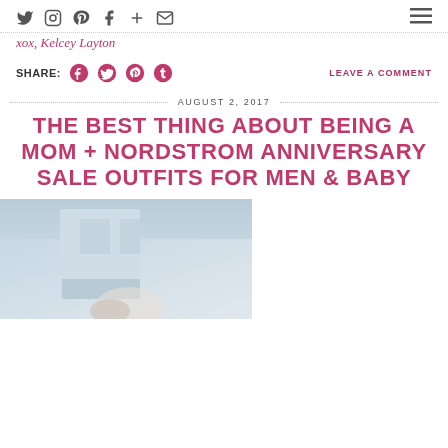Social icons: Twitter, Instagram, Pinterest, Facebook, Plus, Email | Hamburger menu
xox, Kelcey Layton
SHARE: [Facebook] [Twitter] [Pinterest] [Tumblr]   LEAVE A COMMENT
AUGUST 2, 2017
THE BEST THING ABOUT BEING A MOM + NORDSTROM ANNIVERSARY SALE OUTFITS FOR MEN & BABY
[Figure (photo): Partial photo showing a person outdoors near a building, cropped at bottom of page]